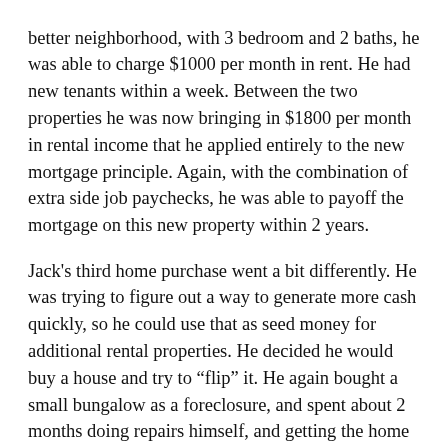better neighborhood, with 3 bedroom and 2 baths, he was able to charge $1000 per month in rent. He had new tenants within a week. Between the two properties he was now bringing in $1800 per month in rental income that he applied entirely to the new mortgage principle. Again, with the combination of extra side job paychecks, he was able to payoff the mortgage on this new property within 2 years.
Jack's third home purchase went a bit differently. He was trying to figure out a way to generate more cash quickly, so he could use that as seed money for additional rental properties. He decided he would buy a house and try to “flip” it. He again bought a small bungalow as a foreclosure, and spent about 2 months doing repairs himself, and getting the home move-in ready. With a very quick turnaround, he ended up netting almost $60,000 when he re-sold the home. Please remember that this was in 2005 at the height of the real estate market. I think it is still possible, although much more difficult to “flip” houses for that type of profit today, but that...